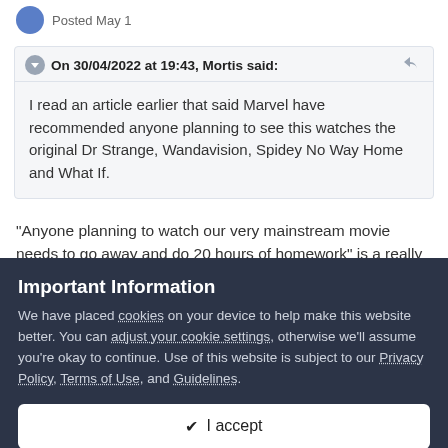Posted May 1
On 30/04/2022 at 19:43, Mortis said:
I read an article earlier that said Marvel have recommended anyone planning to see this watches the original Dr Strange, Wandavision, Spidey No Way Home and What If.
“Anyone planning to watch our very mainstream movie needs to go away and do 20 hours of homework” is a really odd position to
Important Information
We have placed cookies on your device to help make this website better. You can adjust your cookie settings, otherwise we’ll assume you’re okay to continue. Use of this website is subject to our Privacy Policy, Terms of Use, and Guidelines.
✔ I accept